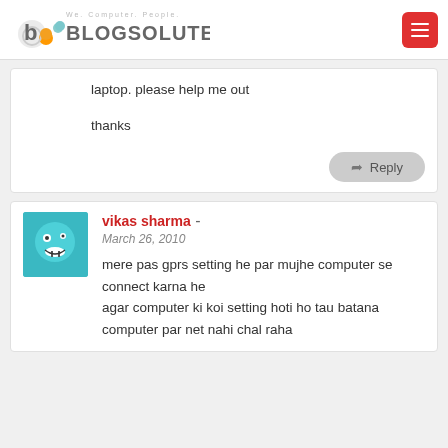Blogsolute - We. Computer. People.
laptop. please help me out

thanks
Reply
vikas sharma - March 26, 2010
mere pas gprs setting he par mujhe computer se connect karna he agar computer ki koi setting hoti ho tau batana computer par net nahi chal raha